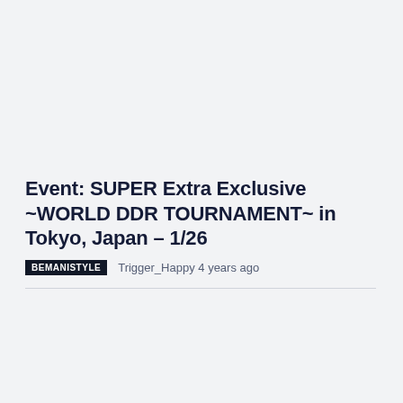Event: SUPER Extra Exclusive ~WORLD DDR TOURNAMENT~ in Tokyo, Japan – 1/26
BEMANISTYLE   Trigger_Happy 4 years ago